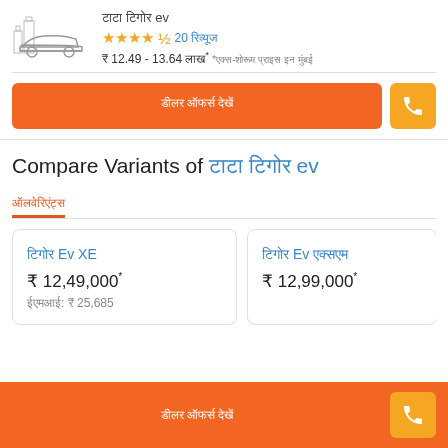[Figure (illustration): Car silhouette icon with city skyline background, gray line drawing]
टाटा टिगोर ev
★★★★½ 20 रिव्यूज
₹ 12.49 - 13.64 लाख* *एक्स-शोरूम प्राइस इन मुंबई
डीलर ऑफर्स देखें
Compare Variants of टाटा टिगोर ev
ऑलवेरिएंट्स
टिगोर Ev XE
₹ 12,49,000*    ईएमआई: ₹ 25,685
टिगोर Ev एक्सएम
₹ 12,99,000*
डीलर ऑफर्स देखें